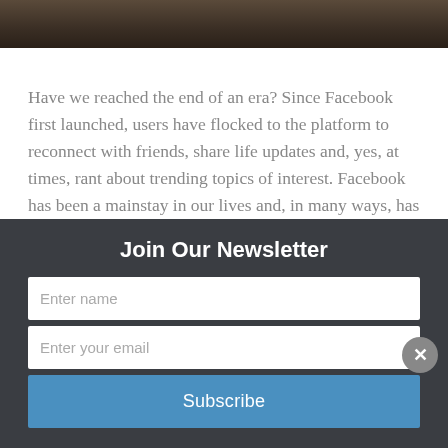[Figure (photo): Dark brownish photo bar at the top of the page, partial view of a dark background scene.]
Have we reached the end of an era? Since Facebook first launched, users have flocked to the platform to reconnect with friends, share life updates and, yes, at times, rant about trending topics of interest. Facebook has been a mainstay in our lives and, in many ways, has defined our social lives. After all if [...]
Industry Trends, Social Media  facebook, Facebook Content, Facebook News Feed, Facebook sharing, Facebook
Join Our Newsletter
Enter name
Enter your email
Subscribe